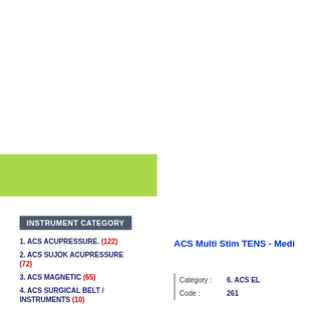[Figure (illustration): Green rectangular banner/box on left side of page]
INSTRUMENT CATEGORY
1. ACS ACUPRESSURE. (122)
2. ACS SUJOK ACUPRESSURE (72)
3. ACS MAGNETIC (65)
4. ACS SURGICAL BELT / INSTRUMENTS (10)
ACS Multi Stim TENS - Medi
Category :
6. ACS EL
Code :
261